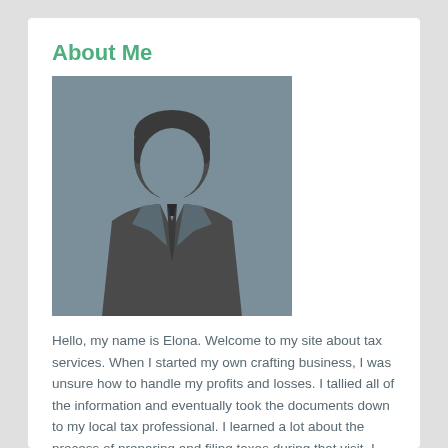About Me
[Figure (illustration): A generic male silhouette placeholder avatar on a grey background, showing a faceless man in a suit with a tie.]
Hello, my name is Elona. Welcome to my site about tax services. When I started my own crafting business, I was unsure how to handle my profits and losses. I tallied all of the information and eventually took the documents down to my local tax professional. I learned a lot about the process of preparing and filing taxes during that visit. I would like to help other people handle their business tax documents and work effectively with a qualified professional. I would be honored if you could use my